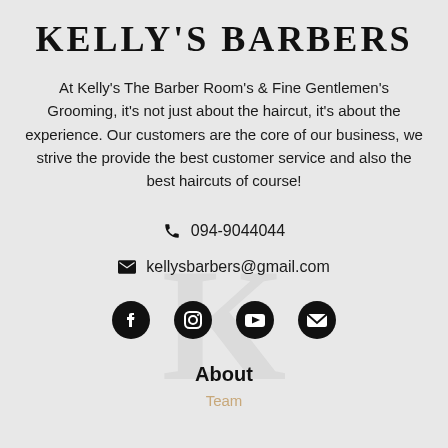KELLY'S BARBERS
At Kelly's The Barber Room's & Fine Gentlemen's Grooming, it's not just about the haircut, it's about the experience. Our customers are the core of our business, we strive the provide the best customer service and also the best haircuts of course!
094-9044044
kellysbarbers@gmail.com
[Figure (infographic): Four social media icons in a row: Facebook, Instagram, YouTube, and an envelope/email icon, all in black on a light gray background.]
About
Team